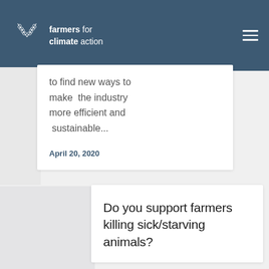farmers for climate action
to find new ways to make  the industry more efficient and  sustainable...
April 20, 2020
Do you support farmers killing sick/starving animals?